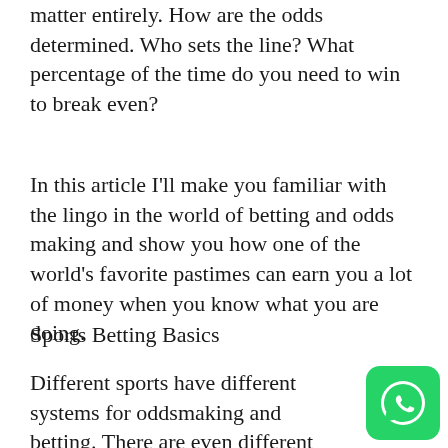matter entirely. How are the odds determined. Who sets the line? What percentage of the time do you need to win to break even?
In this article I’ll make you familiar with the lingo in the world of betting and odds making and show you how one of the world’s favorite pastimes can earn you a lot of money when you know what you are doing.
Sports Betting Basics
Different sports have different systems for oddsmaking and betting. There are even different systems for the same sport, depending on what kind of game the bettor wants to play. But to understand any of these